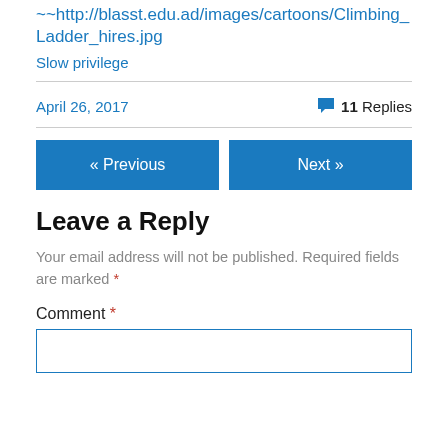~~http://blasst.edu.ad/images/cartoons/Climbing_Ladder_hires.jpg
Slow privilege
April 26, 2017
11 Replies
« Previous
Next »
Leave a Reply
Your email address will not be published. Required fields are marked *
Comment *